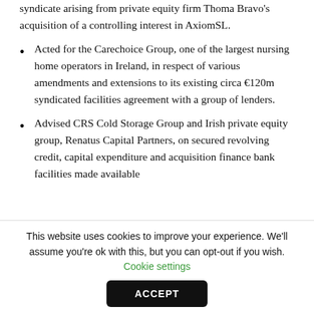syndicate arising from private equity firm Thoma Bravo's acquisition of a controlling interest in AxiomSL.
Acted for the Carechoice Group, one of the largest nursing home operators in Ireland, in respect of various amendments and extensions to its existing circa €120m syndicated facilities agreement with a group of lenders.
Advised CRS Cold Storage Group and Irish private equity group, Renatus Capital Partners, on secured revolving credit, capital expenditure and acquisition finance bank facilities made available
This website uses cookies to improve your experience. We'll assume you're ok with this, but you can opt-out if you wish. Cookie settings
ACCEPT